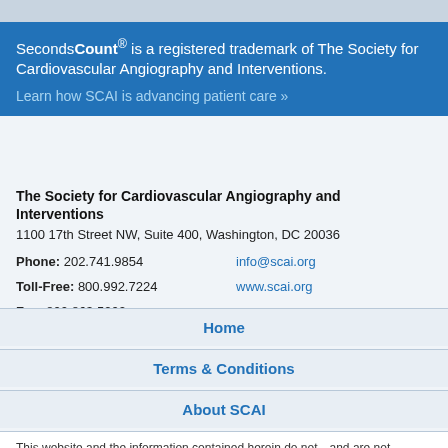SecondsCount® is a registered trademark of The Society for Cardiovascular Angiography and Interventions. Learn how SCAI is advancing patient care »
The Society for Cardiovascular Angiography and Interventions
1100 17th Street NW, Suite 400, Washington, DC 20036
Phone: 202.741.9854   info@scai.org
Toll-Free: 800.992.7224   www.scai.org
Fax: 800.863.5202
Home
Terms & Conditions
About SCAI
This website and the information contained herein do not—and are not intended to—constitute professional medical services or treatment of any kind. SecondsCount.org